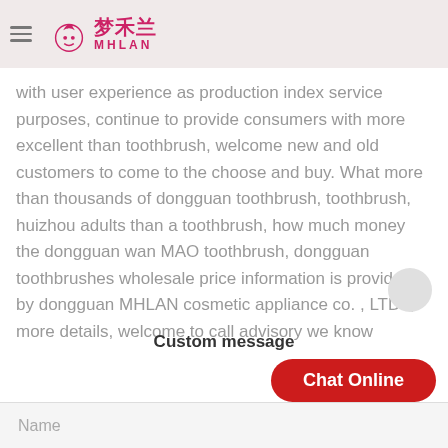梦禾兰 MHLAN
with user experience as production index  service purposes, continue to provide consumers with more excellent than toothbrush, welcome new and old customers to come to the choose and buy. What more than thousands of dongguan toothbrush, toothbrush, huizhou adults than a toothbrush, how much money the dongguan wan MAO toothbrush, dongguan toothbrushes wholesale price information is provided by dongguan MHLAN cosmetic appliance co. , LTD. , more details, welcome to call advisory we know
Custom message
Chat Online
Name